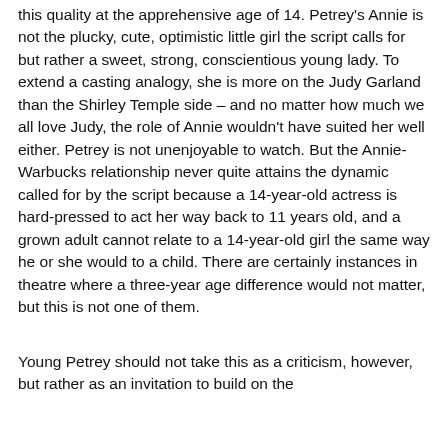this quality at the apprehensive age of 14. Petrey's Annie is not the plucky, cute, optimistic little girl the script calls for but rather a sweet, strong, conscientious young lady. To extend a casting analogy, she is more on the Judy Garland than the Shirley Temple side – and no matter how much we all love Judy, the role of Annie wouldn't have suited her well either. Petrey is not unenjoyable to watch. But the Annie-Warbucks relationship never quite attains the dynamic called for by the script because a 14-year-old actress is hard-pressed to act her way back to 11 years old, and a grown adult cannot relate to a 14-year-old girl the same way he or she would to a child. There are certainly instances in theatre where a three-year age difference would not matter, but this is not one of them.
Young Petrey should not take this as a criticism, however, but rather as an invitation to build on the